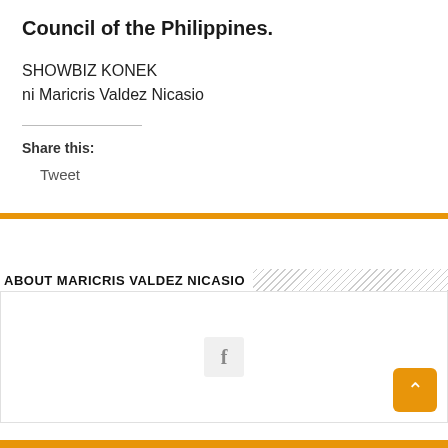Council of the Philippines.
SHOWBIZ KONEK
ni Maricris Valdez Nicasio
Share this:
Tweet
ABOUT MARICRIS VALDEZ NICASIO
[Figure (other): Facebook icon button in a light gray rounded square]
[Figure (other): Orange scroll-to-top button with upward arrow]